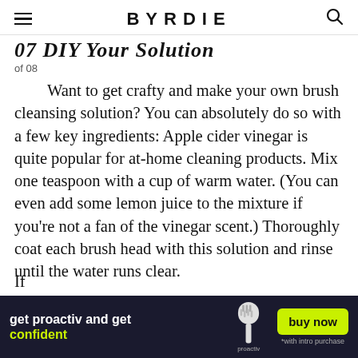BYRDIE
07 DIY Your Solution
of 08
Want to get crafty and make your own brush cleansing solution? You can absolutely do so with a few key ingredients: Apple cider vinegar is quite popular for at-home cleaning products. Mix one teaspoon with a cup of warm water. (You can even add some lemon juice to the mixture if you're not a fan of the vinegar scent.) Thoroughly coat each brush head with this solution and rinse until the water runs clear.
If...
[Figure (infographic): Advertisement banner for Proactiv: 'get proactiv and get confident' with a brush product image and a yellow 'buy now' button, with '*with intro purchase' text below]